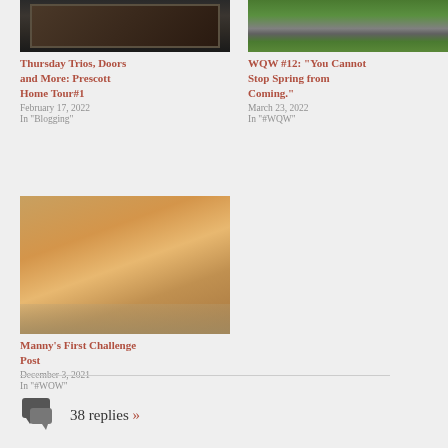[Figure (photo): Dark ornate iron doors]
Thursday Trios, Doors and More: Prescott Home Tour#1
February 17, 2022
In "Blogging"
[Figure (photo): A winding road or path through green landscape]
WQW #12: "You Cannot Stop Spring from Coming."
March 23, 2022
In "#WQW"
[Figure (photo): Stuffed bear toy wearing a jacket and hat]
Manny's First Challenge Post
December 3, 2021
In "#WOW"
38 replies »